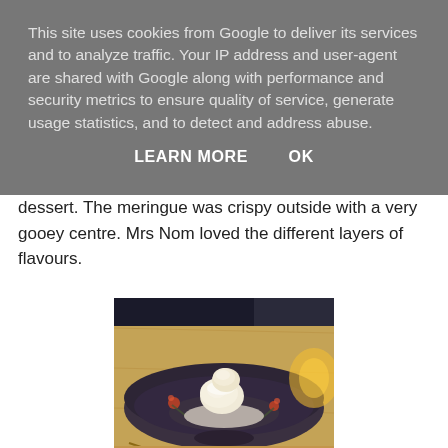This site uses cookies from Google to deliver its services and to analyze traffic. Your IP address and user-agent are shared with Google along with performance and security metrics to ensure quality of service, generate usage statistics, and to detect and address abuse.
LEARN MORE    OK
dessert. The meringue was crispy outside with a very gooey centre. Mrs Nom loved the different layers of flavours.
[Figure (photo): A dessert served in a dark decorative bowl with floral pattern on a wooden table. The dessert appears to be a meringue with ice cream, dusted with powdered sugar, sitting in the center of the wide shallow bowl. There is a warm light source visible in the background on the right.]